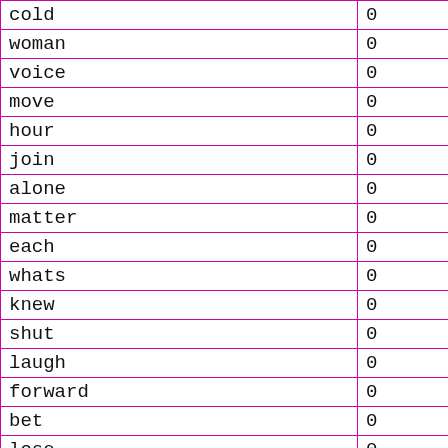| word/phrase | value |
| --- | --- |
| cold | 0 |
| woman | 0 |
| voice | 0 |
| move | 0 |
| hour | 0 |
| join | 0 |
| alone | 0 |
| matter | 0 |
| each | 0 |
| whats | 0 |
| knew | 0 |
| shut | 0 |
| laugh | 0 |
| forward | 0 |
| bet | 0 |
| lose | 0 |
| i don't | 0 |
| i was | 0 |
| need to | 0 |
| have to | 0 |